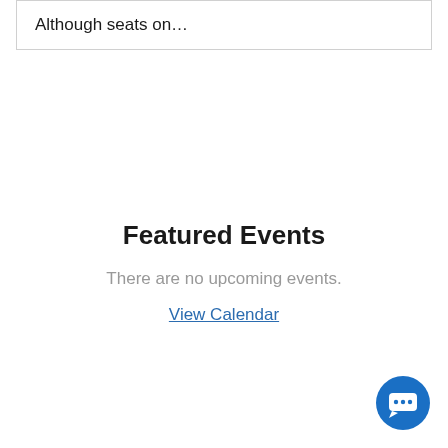Although seats on…
Featured Events
There are no upcoming events.
View Calendar
[Figure (illustration): Blue circular chat button with speech bubble icon containing ellipsis, positioned in bottom-right corner]